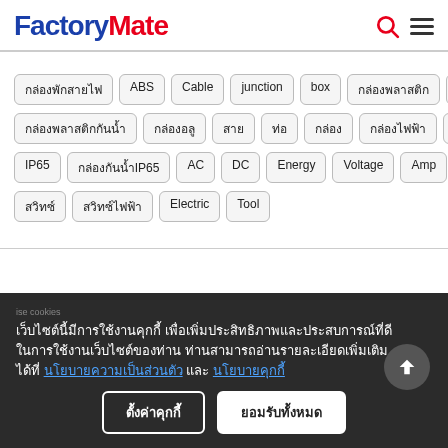FactoryMate
กล่องพักสายไฟ ABS Cable junction box กล่องพลาสติก สาย อุปกรณ์ไฟฟ้า กล่องพลาสติกกันน้ำ กล่องอลู สาย ท่อ กล่องไฟฟ้า Distribution box IP65 กล่องกันน้ำIP65 AC DC Energy Voltage Amp Meter มิเตอร์ไฟฟ้า สวิทซ์ไฟฟ้า Electric Tool
เว็บไซต์นี้มีการใช้งานคุกกี้ เพื่อเพิ่มประสิทธิภาพและประสบการณ์ที่ดีในการใช้งานเว็บไซต์ของท่าน ท่านสามารถอ่านรายละเอียดเพิ่มเติมได้ที่ นโยบายความเป็นส่วนตัว และ นโยบายคุกกี้